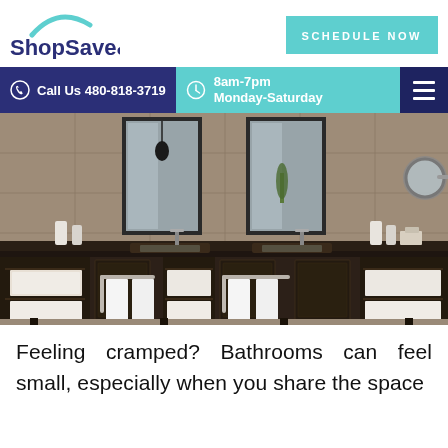[Figure (logo): ShopSave&Floor logo with teal arc above text]
[Figure (other): SCHEDULE NOW teal button]
[Figure (other): Navigation bar with phone number 480-818-3719, hours 8am-7pm Monday-Saturday, and hamburger menu]
[Figure (photo): Luxury bathroom with double vanity, dark wood cabinets, two rectangular mirrors, white towels on rails, open shelving with folded towels, two sinks, and a round wall-mounted mirror on the right]
Feeling cramped? Bathrooms can feel small, especially when you share the space